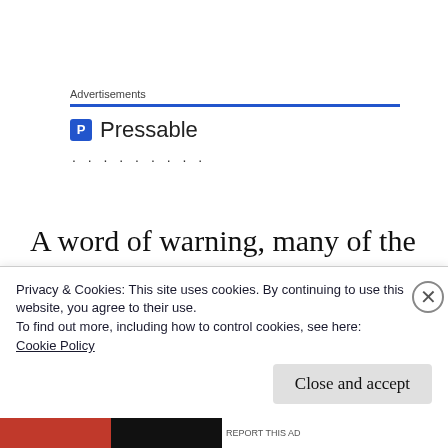Advertisements
[Figure (logo): Pressable logo with blue square P icon and dotted loading indicator]
A word of warning, many of the inner planes are truly primal. You feared the forces of the Outer Planes, but many of these are broken
Privacy & Cookies: This site uses cookies. By continuing to use this website, you agree to their use.
To find out more, including how to control cookies, see here:
Cookie Policy
Close and accept